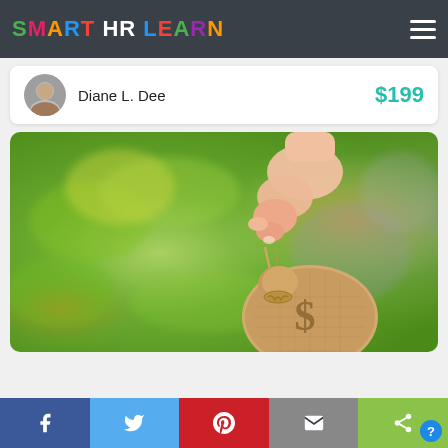SMART HR LEARN
Diane L. Dee   $199
[Figure (photo): A hand holding a burlap money bag with a dollar sign, against a blurred green outdoor background.]
Facebook | Twitter | Pinterest | Email | Share